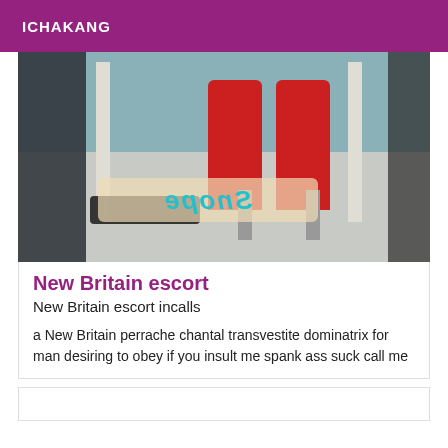ICHAKANG
[Figure (photo): Photo showing red high heel shoes under a table, with a watermark text overlay (mirrored) at the bottom.]
New Britain escort
New Britain escort incalls
a New Britain perrache chantal transvestite dominatrix for man desiring to obey if you insult me spank ass suck call me